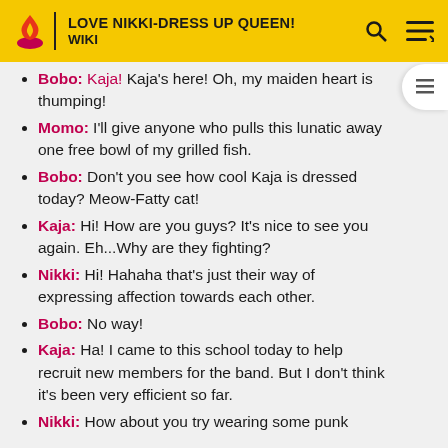LOVE NIKKI-DRESS UP QUEEN! WIKI
Bobo: Kaja! Kaja's here! Oh, my maiden heart is thumping!
Momo: I'll give anyone who pulls this lunatic away one free bowl of my grilled fish.
Bobo: Don't you see how cool Kaja is dressed today? Meow-Fatty cat!
Kaja: Hi! How are you guys? It's nice to see you again. Eh...Why are they fighting?
Nikki: Hi! Hahaha that's just their way of expressing affection towards each other.
Bobo: No way!
Kaja: Ha! I came to this school today to help recruit new members for the band. But I don't think it's been very efficient so far.
Nikki: How about you try wearing some punk...